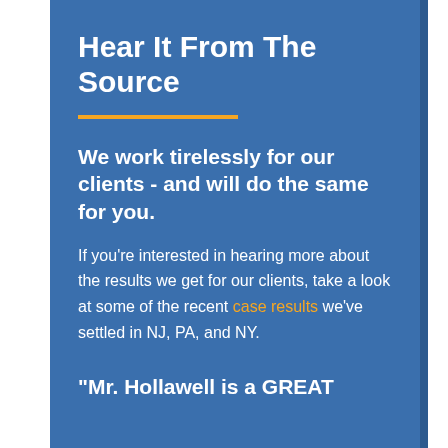Hear It From The Source
We work tirelessly for our clients - and will do the same for you.
If you're interested in hearing more about the results we get for our clients, take a look at some of the recent case results we've settled in NJ, PA, and NY.
"Mr. Hollawell is a GREAT